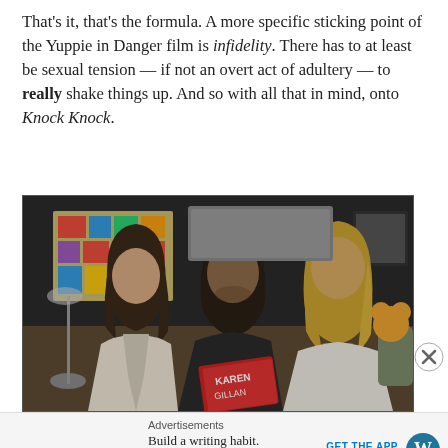That's it, that's the formula. A more specific sticking point of the Yuppie in Danger film is infidelity. There has to at least be sexual tension — if not an overt act of adultery — to really shake things up. And so with all that in mind, onto Knock Knock.
[Figure (photo): A still from the film Knock Knock showing three people sitting on a couch — a woman with long dark hair in a white robe on the left, a man with dark hair in the middle holding a red book, and a blonde woman in a white robe on the right. Colourful artwork is visible in the background.]
Advertisements
Build a writing habit. Post on the go.
GET THE APP